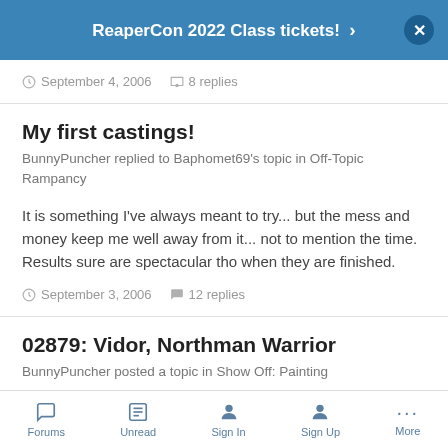ReaperCon 2022 Class tickets! ›
September 4, 2006  8 replies
My first castings!
BunnyPuncher replied to Baphomet69's topic in Off-Topic Rampancy
It is something I've always meant to try... but the mess and money keep me well away from it... not to mention the time. Results sure are spectacular tho when they are finished.
September 3, 2006  12 replies
02879: Vidor, Northman Warrior
BunnyPuncher posted a topic in Show Off: Painting
Forums  Unread  Sign In  Sign Up  More